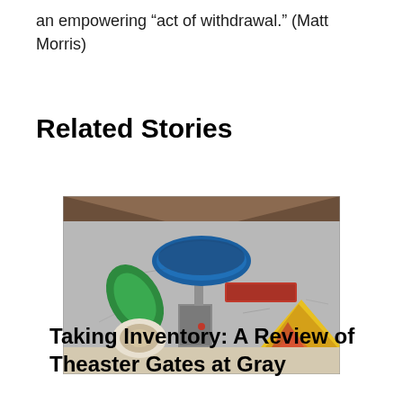an empowering “act of withdrawal.” (Matt Morris)
Related Stories
[Figure (photo): Interior gallery wall installation showing colorful mixed-media artworks arranged on a large gray wall, including a green leaf-shaped piece, a blue semicircular arrangement, a red horizontal bar piece, a white circular piece, and a red-yellow triangular arrangement, with a doorway visible in the center.]
Taking Inventory: A Review of Theaster Gates at Gray